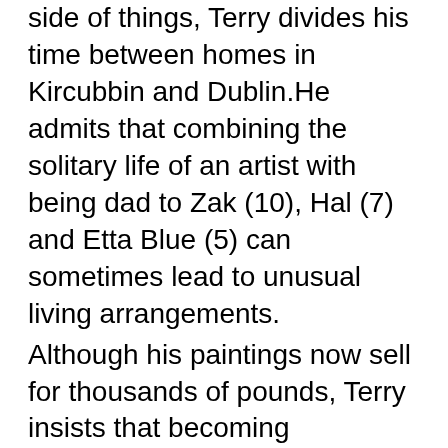side of things, Terry divides his time between homes in Kircubbin and Dublin.He admits that combining the solitary life of an artist with being dad to Zak (10), Hal (7) and Etta Blue (5) can sometimes lead to unusual living arrangements.
Although his paintings now sell for thousands of pounds, Terry insists that becoming successful was far from easy.
“Nothing comes to your door. You have to put yourself out there and get your work seen. I may be doing ok now, but it wasn’t always like that.Everyone thinks it’s a glamorous existence, but they don’t see what goes into it and the personal sacrifices.For instance, yesterday I worked all day and then all night until 4am, full-on. And